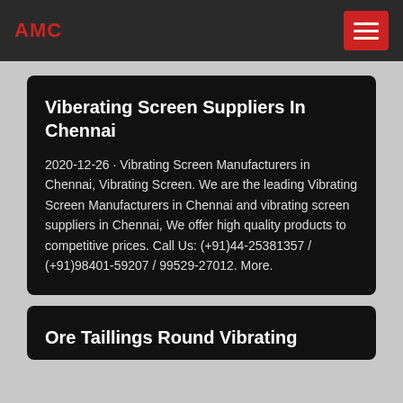AMC
Viberating Screen Suppliers In Chennai
2020-12-26 · Vibrating Screen Manufacturers in Chennai, Vibrating Screen. We are the leading Vibrating Screen Manufacturers in Chennai and vibrating screen suppliers in Chennai, We offer high quality products to competitive prices. Call Us: (+91)44-25381357 / (+91)98401-59207 / 99529-27012. More.
Ore Taillings Round Vibrating